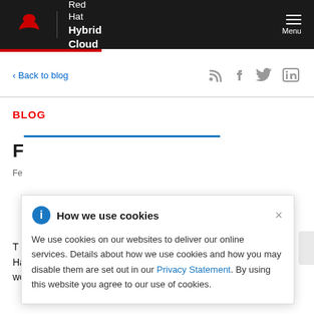Red Hat Hybrid Cloud
< Back to blog
BLOG
F...
Fe...
T... nce that Red Hat Guy 3. 1 is generally available as of today. We've been working on this release for quite some time now. While we
How we use cookies

We use cookies on our websites to deliver our online services. Details about how we use cookies and how you may disable them are set out in our Privacy Statement. By using this website you agree to our use of cookies.